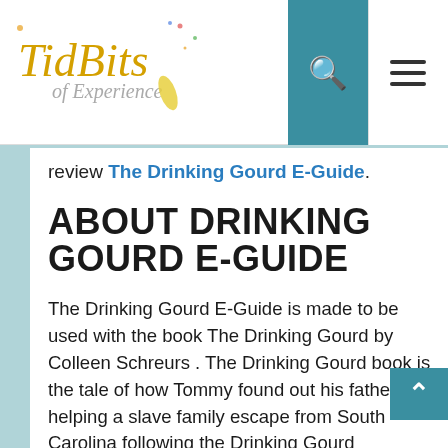TidBits of Experience — logo with search and menu icons
review The Drinking Gourd E-Guide.
ABOUT DRINKING GOURD E-GUIDE
The Drinking Gourd E-Guide is made to be used with the book The Drinking Gourd by Colleen Schreurs . The Drinking Gourd book is the tale of how Tommy found out his father was helping a slave family escape from South Carolina following the Drinking Gourd constellation. The e-guide is 33 pages long. It is designed to be used for grades 1-3. The guide is filled with